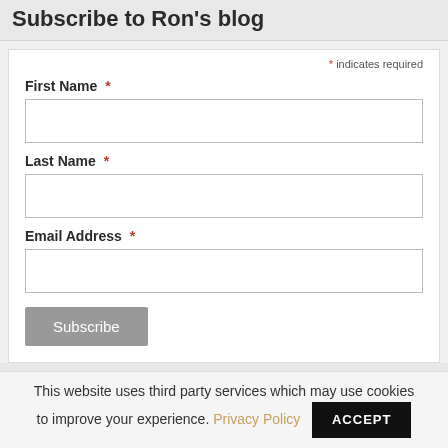Subscribe to Ron's blog
* indicates required
First Name *
Last Name *
Email Address *
Subscribe
This website uses third party services which may use cookies to improve your experience. Privacy Policy ACCEPT